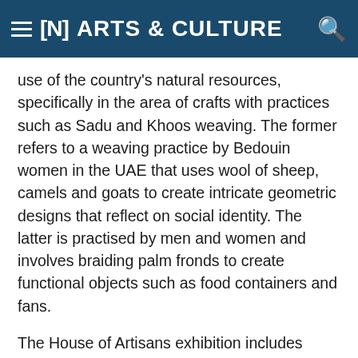[N] ARTS & CULTURE
use of the country's natural resources, specifically in the area of crafts with practices such as Sadu and Khoos weaving. The former refers to a weaving practice by Bedouin women in the UAE that uses wool of sheep, camels and goats to create intricate geometric designs that reflect on social identity. The latter is practised by men and women and involves braiding palm fronds to create functional objects such as food containers and fans.
The House of Artisans exhibition includes displays of different personal collections of woven objects, as well as the different